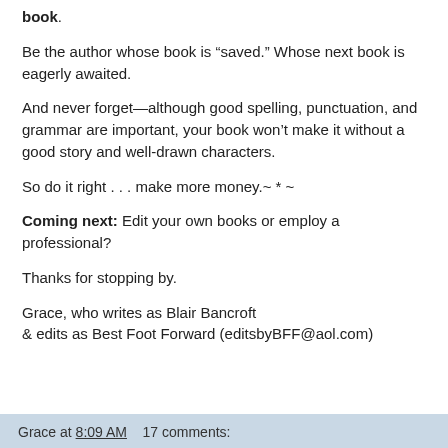book.
Be the author whose book is “saved.” Whose next book is eagerly awaited.
And never forget—although good spelling, punctuation, and grammar are important, your book won’t make it without a good story and well-drawn characters.
So do it right . . . make more money.~ * ~
Coming next: Edit your own books or employ a professional?
Thanks for stopping by.
Grace, who writes as Blair Bancroft
& edits as Best Foot Forward (editsbyBFF@aol.com)
Grace at 8:09 AM    17 comments: